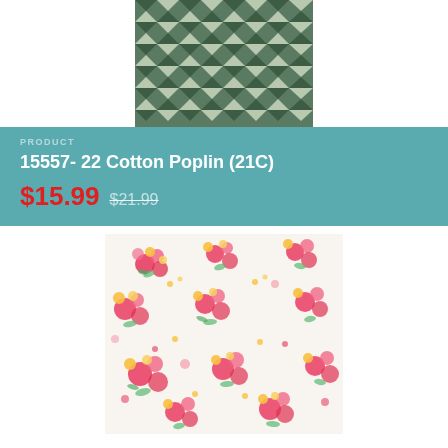[Figure (photo): Close-up photo of a geometric triangle pattern fabric in green and cream/white tones]
PRODUCT
15557- 22 Cotton Poplin (21C)
$15.99  $21.99
[Figure (photo): Close-up photo of a floral pattern fabric with red, pink, yellow flowers and green leaves on a white background]